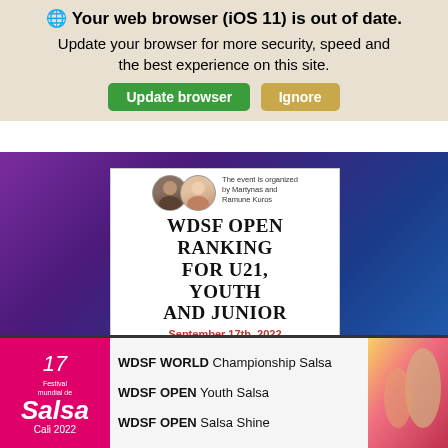🌐 Your web browser (iOS 11) is out of date. Update your browser for more security, speed and the best experience on this site.
Update browser | Ignore
[Figure (other): WDSF Open Ranking event card for U21, Youth and Junior. September 17th, 2022, Lithuania, Klaipeda. Organized by Martynas and Ramune Kuros. Includes DanceSport federation logos.]
[Figure (other): Bottom promotional banner for 17 Festival Mundial de Salsa Cali 2022 featuring WDSF WORLD Championship Salsa, WDSF OPEN Youth Salsa, WDSF OPEN Salsa Shine events.]